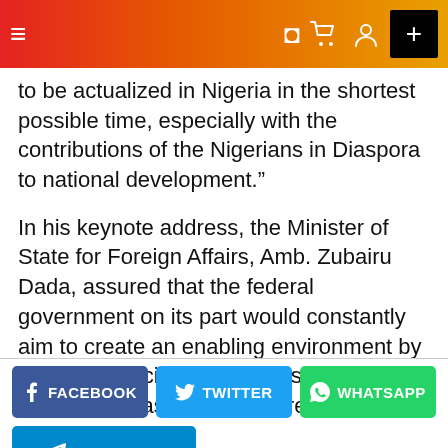[Figure (screenshot): Navigation bar with hamburger menu icon on left and icons (half-moon, cart, user) plus black plus button on right, gradient red-orange-yellow background]
to be actualized in Nigeria in the shortest possible time, especially with the contributions of the Nigerians in Diaspora to national development.”
In his keynote address, the Minister of State for Foreign Affairs, Amb. Zubairu Dada, assured that the federal government on its part would constantly aim to create an enabling environment by adopting policies tailored to support our citizens in Diaspora to ensure their safety and wellbeing.
[Figure (infographic): Social share buttons: Facebook (dark blue), Twitter (light blue), WhatsApp (green), Telegram (blue)]